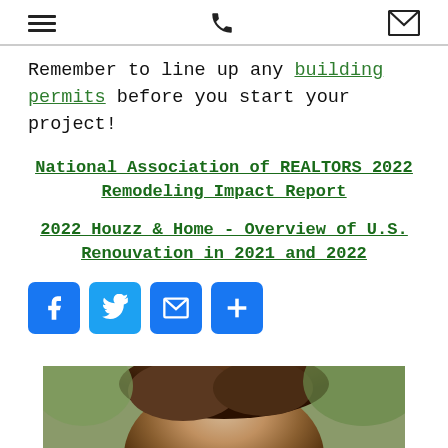[hamburger menu icon] [phone icon] [email icon]
Remember to line up any building permits before you start your project!
National Association of REALTORS 2022 Remodeling Impact Report
2022 Houzz & Home - Overview of U.S. Renouvation in 2021 and 2022
[Figure (infographic): Social sharing buttons: Facebook (blue), Twitter (blue), Email (blue), More/Plus (blue)]
[Figure (photo): Partial photo of a person showing the top of their head with brown/dark hair, cropped at the bottom of the page]